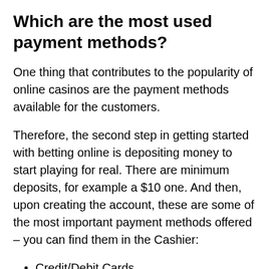Which are the most used payment methods?
One thing that contributes to the popularity of online casinos are the payment methods available for the customers.
Therefore, the second step in getting started with betting online is depositing money to start playing for real. There are minimum deposits, for example a $10 one. And then, upon creating the account, these are some of the most important payment methods offered – you can find them in the Cashier:
Credit/Debit Cards